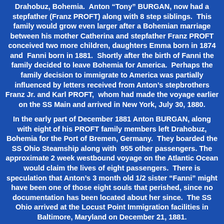Drahobuz, Bohemia.  Anton "Tony" BURGAN, now had a stepfather (Franz PROFT) along with 8 step siblings.  This family would grow even larger after a Bohemian marriage between his mother Catherina and stepfather Franz PROFT conceived two more children, daughters Emma born in 1874 and  Fanni born in 1881.  Shortly after the birth of Fanni the family decided to leave Bohemia for America.  Perhaps the family decision to immigrate to America was partially influenced by letters received from Anton's stepbrothers Franz Jr. and Karl PROFT,  whom had made the voyage earlier on the SS Main and arrived in New York, July 30, 1880.
In the early part of December 1881 Anton BURGAN, along with eight of his PROFT family members left Drahobuz, Bohemia for the Port of Bremen, Germany.  They boarded the SS Ohio Steamship along with  955 other passengers. The approximate 2 week westbound voyage on the Atlantic Ocean would claim the lives of eight passengers.  There is speculation that Anton's 3 month old 1/2 sister "Fanni" might have been one of those eight souls that perished, since no documentation has been located about her since.  The SS Ohio arrived at the Locust Point Immigration facilities in Baltimore, Maryland on December 21, 1881.
After completion of the immigration  process at Baltimore Harbor the family most likely would have taken the Baltimore...